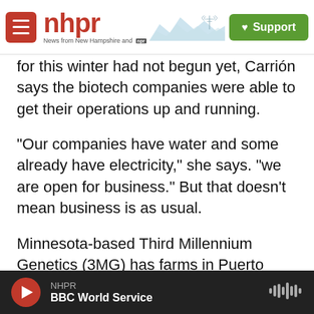nhpr — News from New Hampshire and NPR | Support
for this winter had not begun yet, Carrión says the biotech companies were able to get their operations up and running.
"Our companies have water and some already have electricity," she says. "we are open for business." But that doesn't mean business is as usual.
Minnesota-based Third Millennium Genetics (3MG) has farms in Puerto Rico to help Midwest seed producers run winter research projects. The plan this year was to have two farms in Puerto Rico,
NHPR | BBC World Service